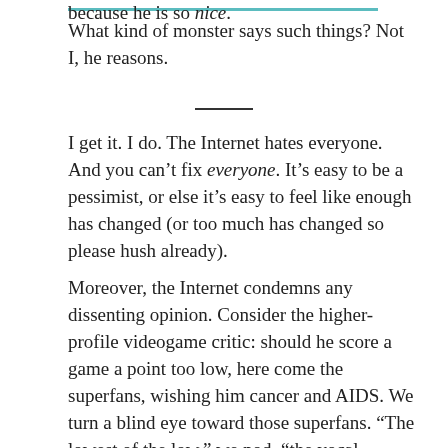because he is so nice.
What kind of monster says such things? Not I, he reasons.
I get it. I do. The Internet hates everyone. And you can't fix everyone. It's easy to be a pessimist, or else it's easy to feel like enough has changed (or too much has changed so please hush already).
Moreover, the Internet condemns any dissenting opinion. Consider the higher-profile videogame critic: should he score a game a point too low, here come the superfans, wishing him cancer and AIDS. We turn a blind eye toward those superfans. “The lowest of the low,” we nod, “the vocal minority! Don’t feed the trolls.”